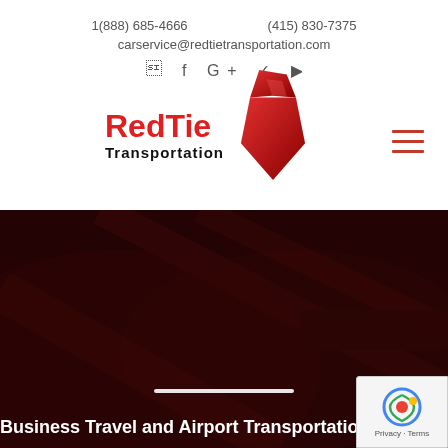1(888) 685-4666    (415) 830-7375
carservice@redtietransportation.com
[Figure (logo): RedTie Transportation logo with red tie graphic and company name]
[Figure (illustration): Dark red tinted photo of luxury car leather interior seats]
Business Travel and Airport Transportation in Dan...